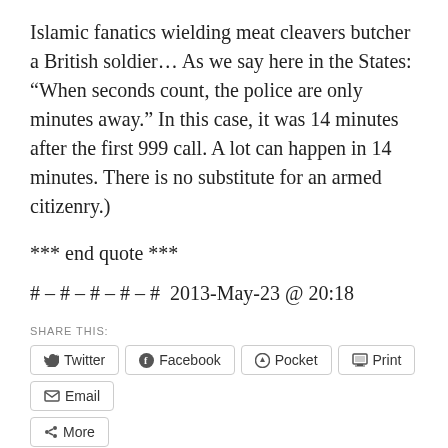Islamic fanatics wielding meat cleavers butcher a British soldier... As we say here in the States: “When seconds count, the police are only minutes away.” In this case, it was 14 minutes after the first 999 call. A lot can happen in 14 minutes. There is no substitute for an armed citizenry.)
*** end quote ***
# – # – # – # – #  2013-May-23 @ 20:18
SHARE THIS:
Twitter  Facebook  Pocket  Print  Email  More
Loading...